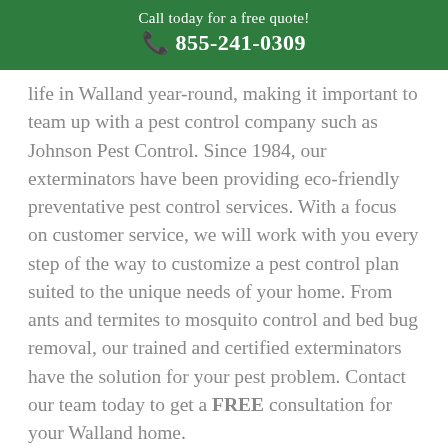Call today for a free quote!
☎ 855-241-0309
life in Walland year-round, making it important to team up with a pest control company such as Johnson Pest Control. Since 1984, our exterminators have been providing eco-friendly preventative pest control services. With a focus on customer service, we will work with you every step of the way to customize a pest control plan suited to the unique needs of your home. From ants and termites to mosquito control and bed bug removal, our trained and certified exterminators have the solution for your pest problem. Contact our team today to get a FREE consultation for your Walland home.